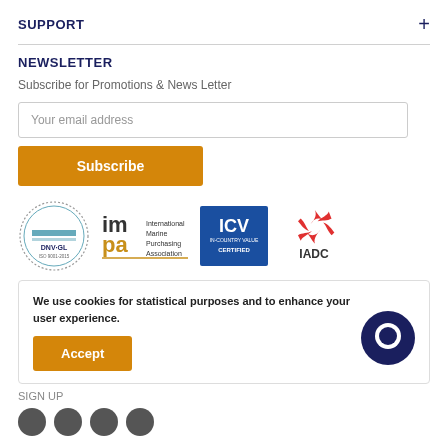SUPPORT
NEWSLETTER
Subscribe for Promotions & News Letter
Your email address
Subscribe
[Figure (logo): Four certification/association logos: DNV·GL ISO 9001:2015, IMPA International Marine Purchasing Association, ICV In-Country Value Certified, IADC]
We use cookies for statistical purposes and to enhance your user experience.
Accept